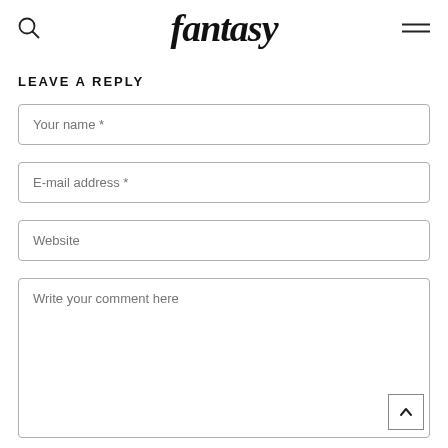fantasy
LEAVE A REPLY
Your name *
E-mail address *
Website
Write your comment here